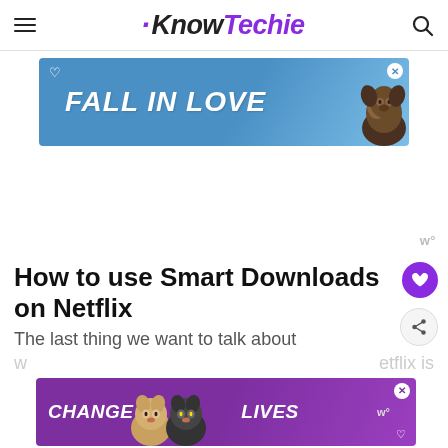KnowTechie
[Figure (photo): Advertisement banner: blue background with 'FALL IN LOVE' text in white italic bold and a dog image on the right, with a close button]
[Figure (photo): Advertisement space placeholder with 'w' watermark in lower right]
How to use Smart Downloads on Netflix
The last thing we want to talk about
w°
etflix is
[Figure (photo): Advertisement banner: purple background with 'CHANGE LIVES' text in white italic bold and cat images, with a close button and heart icon]